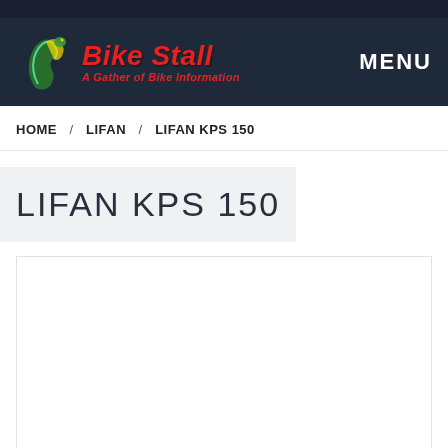Bike Stall - A Gather of Bike Information | MENU
HOME / LIFAN / LIFAN KPS 150
LIFAN KPS 150
[Figure (photo): Image area for Lifan KPS 150 motorcycle]